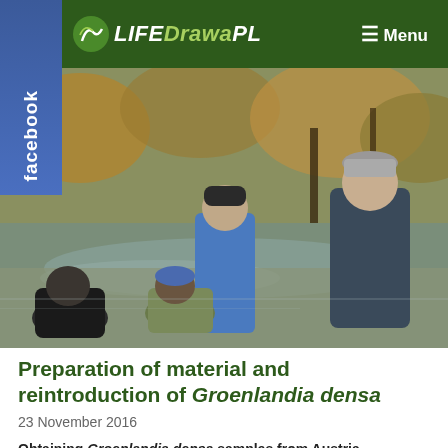LIFEDrawaPL — Menu
[Figure (photo): Outdoor photo of researchers or field workers standing and crouching in a shallow stream, surrounded by autumn foliage and trees. One person wears a blue jacket standing in the water, another wears a dark puffer jacket standing on the bank, and two others are crouching near the water's edge collecting samples.]
Preparation of material and reintroduction of Groenlandia densa
23 November 2016
Obtaining Groenlandia densa samples from Austria...